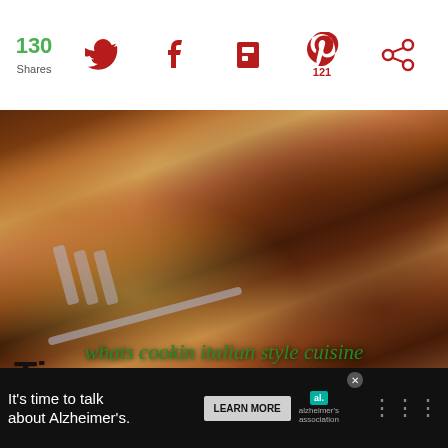130 Shares | Twitter | Facebook | Flipboard | Pinterest 121 | Share
[Figure (photo): Food photo showing roasted meat, sausages, and potatoes on a plate with a fork, with text overlay 'whats cookin italian style cuisine']
whats cookin italian style cuisine
Tips
[Figure (infographic): Ad banner: It's time to talk about Alzheimer's. LEARN MORE. Alzheimer's Association logo.]